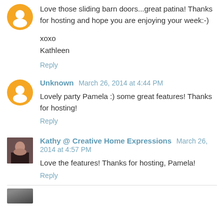[Figure (illustration): Orange circular blogger avatar icon with white silhouette at top left]
Love those sliding barn doors...great patina! Thanks for hosting and hope you are enjoying your week:-)
xoxo
Kathleen
Reply
[Figure (illustration): Orange circular blogger avatar icon with white silhouette]
Unknown March 26, 2014 at 4:44 PM
Lovely party Pamela :) some great features! Thanks for hosting!
Reply
[Figure (photo): Small profile photo of a woman with dark hair]
Kathy @ Creative Home Expressions March 26, 2014 at 4:57 PM
Love the features! Thanks for hosting, Pamela!
Reply
[Figure (photo): Partial profile photo at bottom of page (cropped)]
Partially visible commenter name and date at very bottom